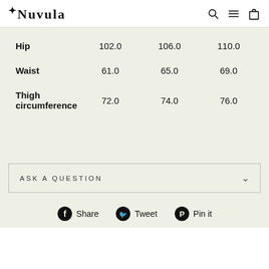NUVULA
|  |  |  |  |
| --- | --- | --- | --- |
| Hip | 102.0 | 106.0 | 110.0 |
| Waist | 61.0 | 65.0 | 69.0 |
| Thigh circumference | 72.0 | 74.0 | 76.0 |
ASK A QUESTION
Share  Tweet  Pin it